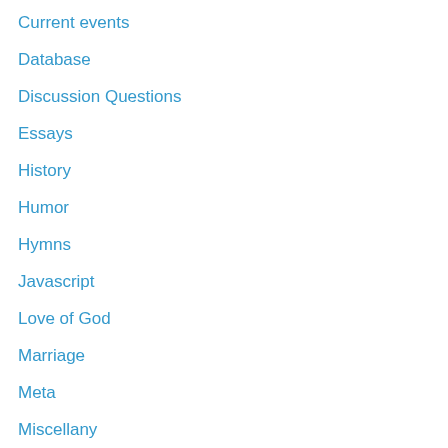Current events
Database
Discussion Questions
Essays
History
Humor
Hymns
Javascript
Love of God
Marriage
Meta
Miscellany
Music
Parenting
Patterns
Performance
Personal
Poetry
Programming
Python